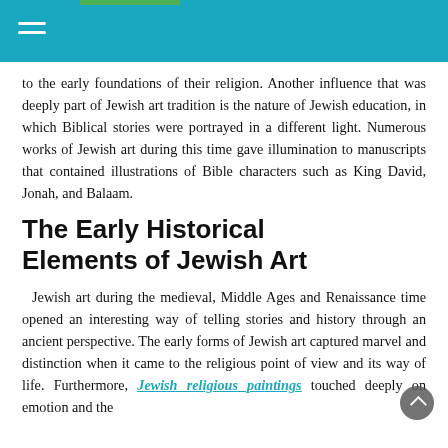to the early foundations of their religion. Another influence that was deeply part of Jewish art tradition is the nature of Jewish education, in which Biblical stories were portrayed in a different light. Numerous works of Jewish art during this time gave illumination to manuscripts that contained illustrations of Bible characters such as King David, Jonah, and Balaam.
The Early Historical Elements of Jewish Art
Jewish art during the medieval, Middle Ages and Renaissance time opened an interesting way of telling stories and history through an ancient perspective. The early forms of Jewish art captured marvel and distinction when it came to the religious point of view and its way of life. Furthermore, Jewish religious paintings touched deeply on emotion and the